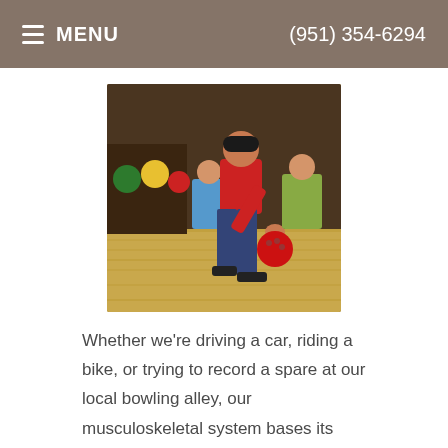MENU   (951) 354-6294
[Figure (photo): A person bowling at a bowling alley, reaching forward to release a red bowling ball, with others watching in the background.]
Whether we're driving a car, riding a bike, or trying to record a spare at our local bowling alley, our musculoskeletal system bases its decision-making on past history, that is, what it has learned before. Drawing on years of experience, recorded deep within our muscle memory, we're able to avoid an
Read more
A Center for Health